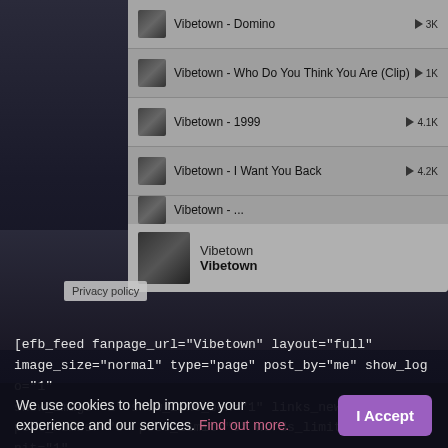Vibetown - Domino ▶ 3K
Vibetown - Who Do You Think You Are (Clip) ▶ 1K
Vibetown - 1999 ▶ 4.1K
Vibetown - I Want You Back ▶ 4.2K
Vibetown
Vibetown
Privacy policy
[Figure (screenshot): Dark background photo of a band group]
[efb_feed fanpage_url="Vibetown" layout="full" image_size="normal" type="page" post_by="me" show_logo="1" show_image="1" show_like_box="1" links_new_tab="1" post_number="5" post_limit="5" words_limit="" cache_unit="1" cache_duration="days" ]
We use cookies to help improve your experience and our services. Find out more.